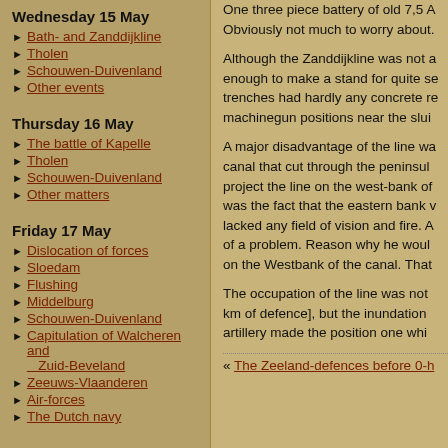Wednesday 15 May
Bath- and Zanddijkline
Tholen
Schouwen-Duivenland
Other events
Thursday 16 May
The battle of Kapelle
Tholen
Schouwen-Duivenland
Other matters
Friday 17 May
Dislocation of forces
Sloedam
Flushing
Middelburg
Schouwen-Duivenland
Capitulation of Walcheren and Zuid-Beveland
Zeeuws-Vlaanderen
Air-forces
The Dutch navy
One three piece battery of old 7,5 A... Obviously not much to worry about.
Although the Zanddijkline was not a... enough to make a stand for quite se... trenches had hardly any concrete r... machinegun positions near the slui...
A major disadvantage of the line wa... canal that cut through the peninsul... project the line on the west-bank of... was the fact that the eastern bank w... lacked any field of vision and fire. A... of a problem. Reason why he woul... on the Westbank of the canal. That...
The occupation of the line was not ... km of defence], but the inundations... artillery made the position one whic...
« The Zeeland-defences before 0-h...